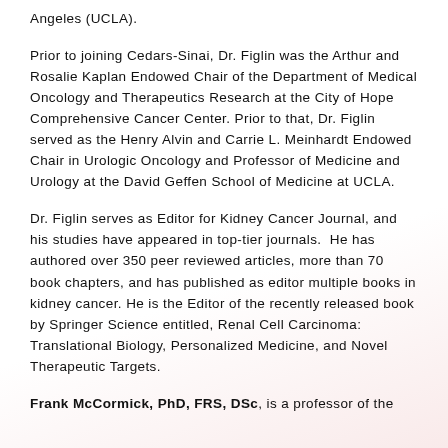Angeles (UCLA).
Prior to joining Cedars-Sinai, Dr. Figlin was the Arthur and Rosalie Kaplan Endowed Chair of the Department of Medical Oncology and Therapeutics Research at the City of Hope Comprehensive Cancer Center. Prior to that, Dr. Figlin served as the Henry Alvin and Carrie L. Meinhardt Endowed Chair in Urologic Oncology and Professor of Medicine and Urology at the David Geffen School of Medicine at UCLA.
Dr. Figlin serves as Editor for Kidney Cancer Journal, and his studies have appeared in top-tier journals. He has authored over 350 peer reviewed articles, more than 70 book chapters, and has published as editor multiple books in kidney cancer. He is the Editor of the recently released book by Springer Science entitled, Renal Cell Carcinoma: Translational Biology, Personalized Medicine, and Novel Therapeutic Targets.
Frank McCormick, PhD, FRS, DSc, is a professor of the